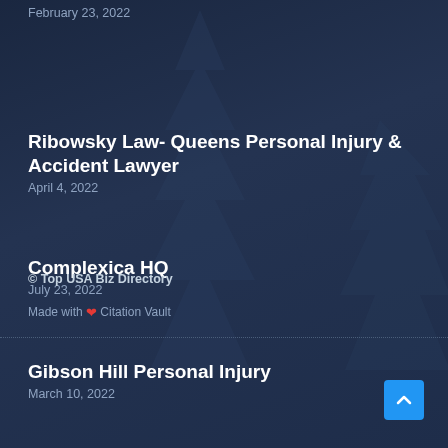February 23, 2022
Ribowsky Law- Queens Personal Injury & Accident Lawyer
April 4, 2022
Complexica HQ
July 23, 2022
Gibson Hill Personal Injury
March 10, 2022
© Top USA Biz Directory
Made with ❤ Citation Vault